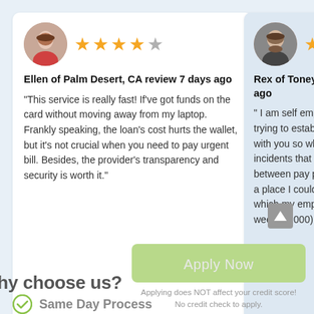[Figure (screenshot): Review card: Ellen of Palm Desert, CA - 4 star rating with profile photo (woman). Review text about fast service and loan transparency.]
Ellen of Palm Desert, CA review 7 days ago
"This service is really fast! If've got funds on the card without moving away from my laptop. Frankly speaking, the loan's cost hurts the wallet, but it's not crucial when you need to pay urgent bill. Besides, the provider's transparency and security is worth it."
[Figure (screenshot): Review card (partially visible): Rex of Toney, AL - 4 star rating with profile photo (man with beard). Partial review text about being self employed.]
Rex of Toney, AL rev ago
" I am self employed trying to establish a with you so when th incidents that actua between pay period a place I could go t which my employee week ($2000). I wen
Apply Now
Applying does NOT affect your credit score!
No credit check to apply.
hy choose us?
Same Day Process